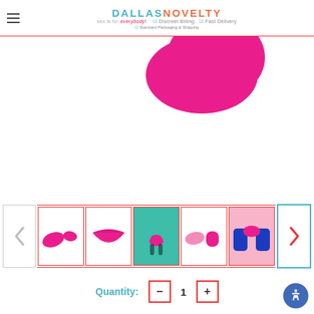Dallas Novelty — sex is for everybody! — Discreet Billing, Fast Delivery, Standard Packaging & Shipping
[Figure (photo): Close-up of a hot pink/magenta rounded product (top portion visible) on white background]
[Figure (photo): Product thumbnail carousel showing 5 thumbnail images of a pink product from different angles and settings, with left and right navigation arrows]
Quantity:
1